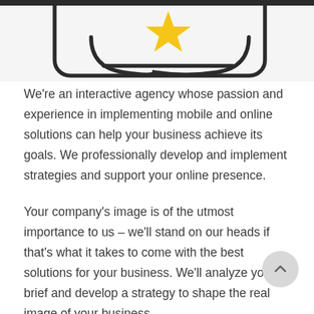[Figure (illustration): Partial illustration showing a rounded rectangle with a bookmark/star icon and a cup/bowl shape — top portion of a decorative graphic element on a light grey background]
We're an interactive agency whose passion and experience in implementing mobile and online solutions can help your business achieve its goals. We professionally develop and implement strategies and support your online presence.
Your company's image is of the utmost importance to us – we'll stand on our heads if that's what it takes to come with the best solutions for your business. We'll analyze your brief and develop a strategy to shape the real image of your business.
We offer a wide range of services, from e-BB